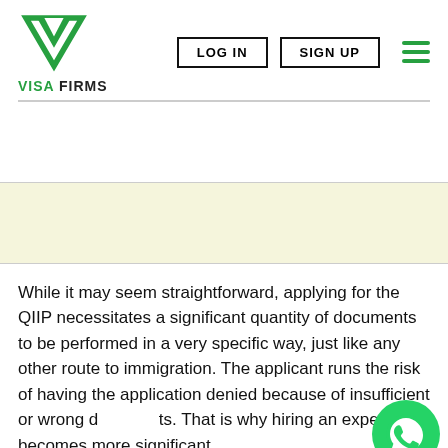[Figure (logo): Visa Firms logo: green downward-pointing triangular chevron/arrow icon above the text 'VISA FIRMS' in green and black]
LOG IN   SIGN UP   ≡
While it may seem straightforward, applying for the QIIP necessitates a significant quantity of documents to be performed in a very specific way, just like any other route to immigration. The applicant runs the risk of having the application denied because of insufficient or wrong documents. That is why hiring an expert becomes more significant